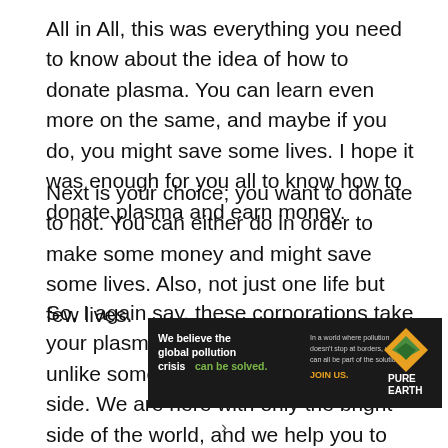All in All, this was everything you need to know about the idea of how to donate plasma. You can learn even more on the same, and maybe if you do, you might save some lives. I hope it was enough for you all to know how to donate plasma and earn money.
Next is your choice; you want to donate to not. You can either do in order to make some money and might save some lives. Also, not just one life but few lives.
So, I again say, these corporations take your plasma and put it to good use, unlike some companies with a dark side. We are here with only the bright side of the world, and we help you to know right.
[Figure (infographic): Advertisement banner for Pure Earth: dark background with text 'We believe the global pollution crisis can be solved.' and 'In a world where pollution doesn't stop at borders, we can all be part of the solution. JOIN US.' with Pure Earth logo.]